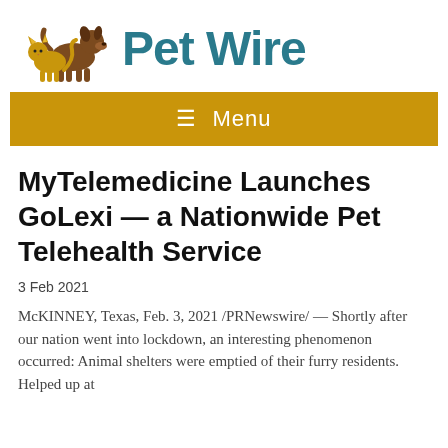[Figure (logo): Pet Wire logo with dog and cat silhouettes in brown and yellow/gold colors, beside the text 'Pet Wire' in teal/dark cyan bold font]
☰ Menu
MyTelemedicine Launches GoLexi — a Nationwide Pet Telehealth Service
3 Feb 2021
McKINNEY, Texas, Feb. 3, 2021 /PRNewswire/ — Shortly after our nation went into lockdown, an interesting phenomenon occurred: Animal shelters were emptied of their furry residents. Helped up at